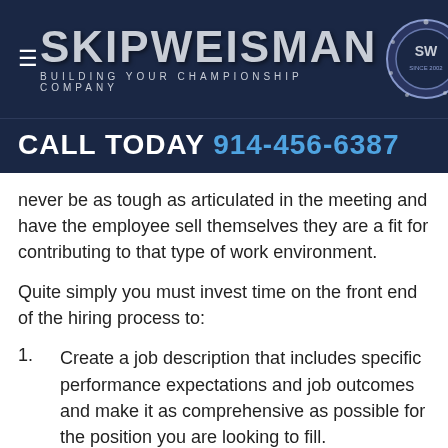[Figure (logo): Skip Weisman logo with text 'Building Your Championship Company' and a championship ring badge on dark navy background]
CALL TODAY 914-456-6387
never be as tough as articulated in the meeting and have the employee sell themselves they are a fit for contributing to that type of work environment.
Quite simply you must invest time on the front end of the hiring process to:
Create a job description that includes specific performance expectations and job outcomes and make it as comprehensive as possible for the position you are looking to fill.